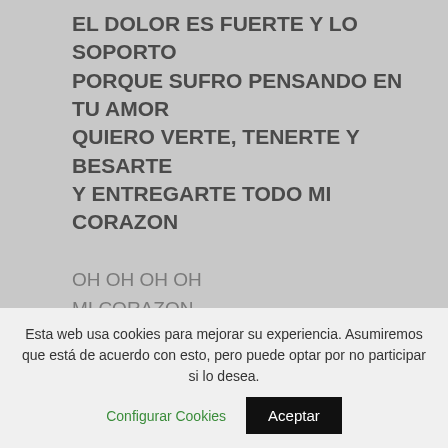EL DOLOR ES FUERTE Y LO SOPORTO PORQUE SUFRO PENSANDO EN TU AMOR QUIERO VERTE, TENERTE Y BESARTE Y ENTREGARTE TODO MI CORAZON
OH OH OH OH
MI CORAZON
OH OH OH OH
MI CORAZON
...:: OH JULY ::...
OH, OH, JULY
TE QUIERO CANTAR
Esta web usa cookies para mejorar su experiencia. Asumiremos que está de acuerdo con esto, pero puede optar por no participar si lo desea. Configurar Cookies Aceptar